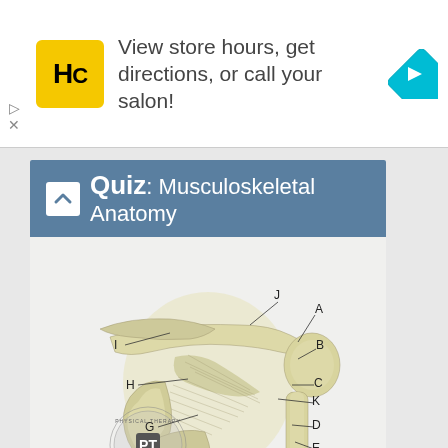[Figure (illustration): Advertisement banner: Hair Club logo (HC in yellow square), text 'View store hours, get directions, or call your salon!', blue diamond navigation icon on right]
Quiz: Musculoskeletal Anatomy
[Figure (illustration): Anatomical illustration of the shoulder/musculoskeletal structure with labeled parts A through K and I, J, H, G, F on a light yellow background. Physical Therapy Web logo in bottom left corner.]
TEST YOUR KNOWLEDGE